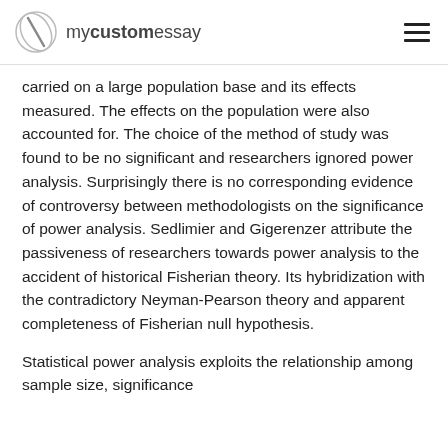mycustomessay
carried on a large population base and its effects measured. The effects on the population were also accounted for. The choice of the method of study was found to be no significant and researchers ignored power analysis. Surprisingly there is no corresponding evidence of controversy between methodologists on the significance of power analysis. Sedlimier and Gigerenzer attribute the passiveness of researchers towards power analysis to the accident of historical Fisherian theory. Its hybridization with the contradictory Neyman-Pearson theory and apparent completeness of Fisherian null hypothesis.
Statistical power analysis exploits the relationship among sample size, significance